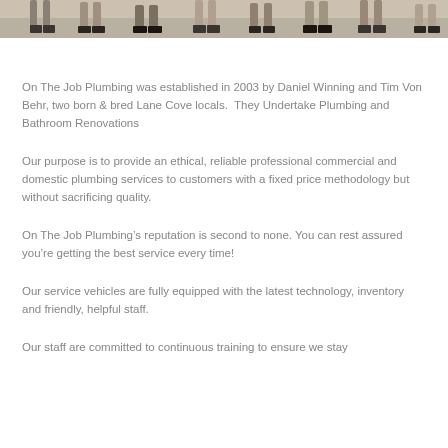[Figure (photo): Cropped photo strip showing lower legs and feet of a group of people standing on a light-colored surface, partially visible at the top of the page]
On The Job Plumbing was established in 2003 by Daniel Winning and Tim Von Behr, two born & bred Lane Cove locals.  They Undertake Plumbing and Bathroom Renovations
Our purpose is to provide an ethical, reliable professional commercial and domestic plumbing services to customers with a fixed price methodology but without sacrificing quality.
On The Job Plumbing's reputation is second to none. You can rest assured you're getting the best service every time!
Our service vehicles are fully equipped with the latest technology, inventory and friendly, helpful staff.
Our staff are committed to continuous training to ensure we stay